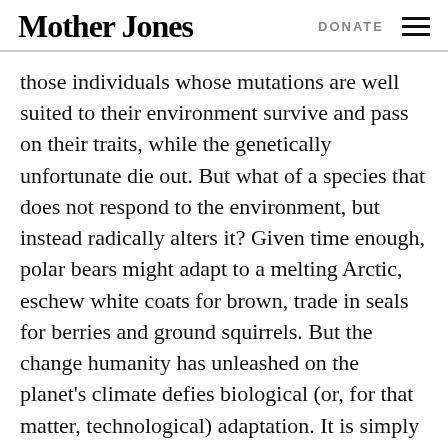Mother Jones | DONATE
those individuals whose mutations are well suited to their environment survive and pass on their traits, while the genetically unfortunate die out. But what of a species that does not respond to the environment, but instead radically alters it? Given time enough, polar bears might adapt to a melting Arctic, eschew white coats for brown, trade in seals for berries and ground squirrels. But the change humanity has unleashed on the planet's climate defies biological (or, for that matter, technological) adaptation. It is simply moving too fast. So fast that while news of the polar bear's plight has finally broken through the media noise—too late, probably, for the bear. Americans are still profoundly